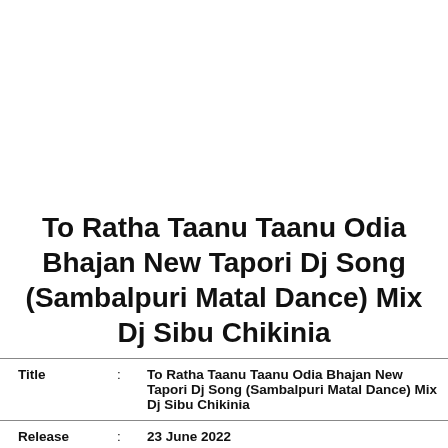To Ratha Taanu Taanu Odia Bhajan New Tapori Dj Song (Sambalpuri Matal Dance) Mix Dj Sibu Chikinia
| Title | : | To Ratha Taanu Taanu Odia Bhajan New Tapori Dj Song (Sambalpuri Matal Dance) Mix Dj Sibu Chikinia |
| Release | : | 23 June 2022 |